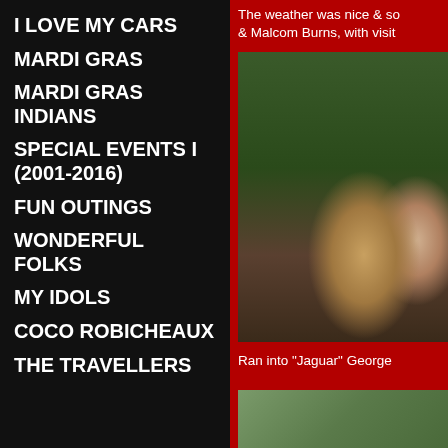I LOVE MY CARS
MARDI GRAS
MARDI GRAS INDIANS
SPECIAL EVENTS I (2001-2016)
FUN OUTINGS
WONDERFUL FOLKS
MY IDOLS
COCO ROBICHEAUX
THE TRAVELLERS
The weather was nice & so & Malcom Burns, with visit
[Figure (photo): Photo of a young blonde child and an older woman with white hair and glasses, smiling together outdoors]
Ran into "Jaguar" George
[Figure (photo): Partial photo of an outdoor scene]